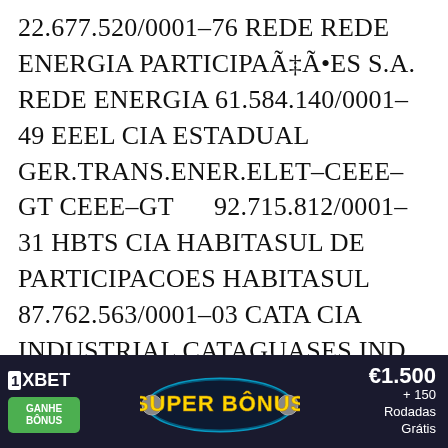22.677.520/0001-76 REDE REDE ENERGIA PARTICIPAÃƑÃ•ES S.A. REDE ENERGIA 61.584.140/0001-49 EEEL CIA ESTADUAL GER.TRANS.ENER.ELET-CEEE-GT CEEE-GT 92.715.812/0001-31 HBTS CIA HABITASUL DE PARTICIPACOES HABITASUL 87.762.563/0001-03 CATA CIA INDUSTRIAL CATAGUASES IND CATAGUAS 19.526.748/0001-50 MSPA CIA MELHORAMENTOS DE SAO PAULO MELHOR SP 60.730.348/0001-66 PALF CIA PAULISTA DE FORCA E LUZ PAUL F LUZ 33.050.196/0001-
[Figure (other): Advertisement banner for 1XBET showing 'GANHE BÔNUS' button, 'SUPER BÔNUS' text, and '€1.500 + 150 Rodadas Grátis' offer with a close button.]